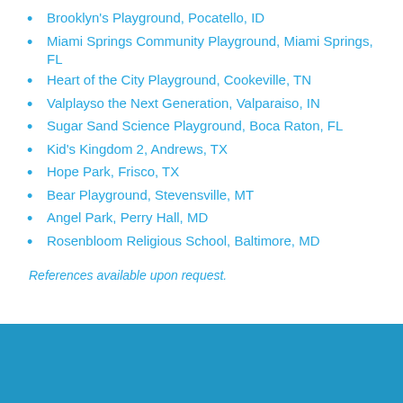Brooklyn's Playground, Pocatello, ID
Miami Springs Community Playground, Miami Springs, FL
Heart of the City Playground, Cookeville, TN
Valplayso the Next Generation, Valparaiso, IN
Sugar Sand Science Playground, Boca Raton, FL
Kid's Kingdom 2, Andrews, TX
Hope Park, Frisco, TX
Bear Playground, Stevensville, MT
Angel Park, Perry Hall, MD
Rosenbloom Religious School, Baltimore, MD
References available upon request.